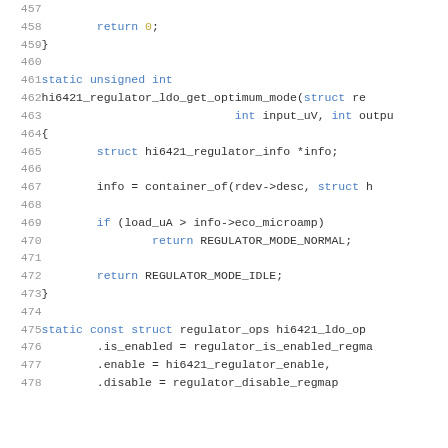Source code listing lines 457-478, C programming language, showing a static function hi6421_regulator_ldo_get_optimum_mode and static const struct regulator_ops hi6421_ldo_ops